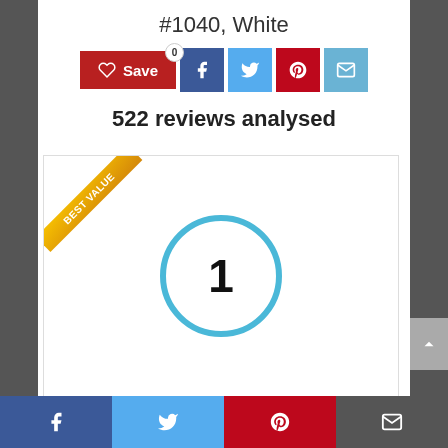#1040, White
[Figure (infographic): Social sharing bar with Save button, Facebook, Twitter, Pinterest, and Email icons. Save button has a badge showing 0.]
522 reviews analysed
[Figure (infographic): Product card with 'BEST VALUE' diagonal ribbon in gold, and a blue circle with the number 1 inside indicating ranking.]
Aqua-Plumb 01040 14 Oz Plumbers Putty
Facebook Twitter Pinterest Email social sharing bottom bar